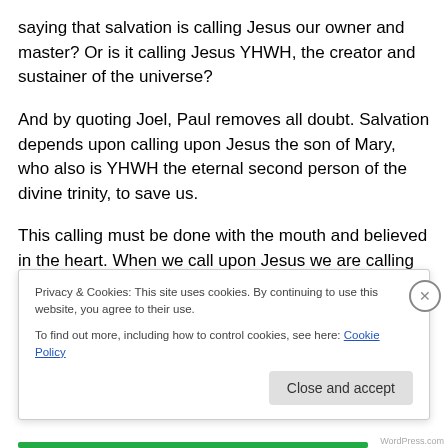saying that salvation is calling Jesus our owner and master? Or is it calling Jesus YHWH, the creator and sustainer of the universe?
And by quoting Joel, Paul removes all doubt. Salvation depends upon calling upon Jesus the son of Mary, who also is YHWH the eternal second person of the divine trinity, to save us.
This calling must be done with the mouth and believed in the heart. When we call upon Jesus we are calling upon
Privacy & Cookies: This site uses cookies. By continuing to use this website, you agree to their use.
To find out more, including how to control cookies, see here: Cookie Policy
Close and accept